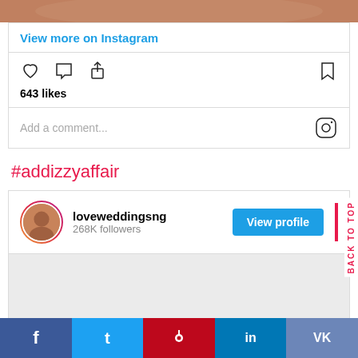[Figure (photo): Top cropped photo strip showing people]
View more on Instagram
[Figure (infographic): Instagram action icons: heart, comment, share, bookmark. 643 likes shown below icons.]
643 likes
Add a comment...
#addizzyaffair
[Figure (infographic): Instagram profile card for loveweddingsng with 268K followers and View profile button]
f  t  Pinterest  in  VK - social share bar